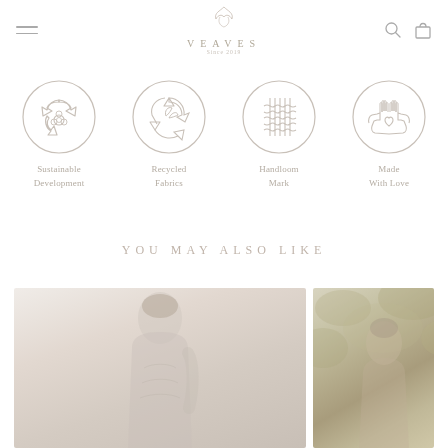VEAVES
[Figure (illustration): Four circular icons representing brand values: Sustainable Development (flower/recycling icon), Recycled Fabrics (leaves/recycle icon), Handloom Mark (weaving pattern icon), Made With Love (hands holding heart icon)]
Sustainable Development
Recycled Fabrics
Handloom Mark
Made With Love
YOU MAY ALSO LIKE
[Figure (photo): Fashion model in light-colored dress against neutral background]
[Figure (photo): Fashion model outdoors with foliage background]